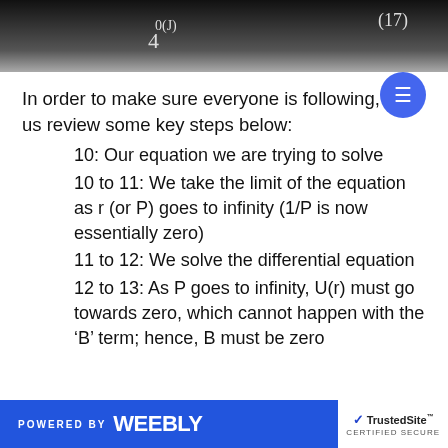[Figure (other): Dark banner at top of page showing partial mathematical equation fragments including '4' subscript, superscript notation, and '(17)' label on right side]
In order to make sure everyone is following, let us review some key steps below:
10: Our equation we are trying to solve
10 to 11: We take the limit of the equation as r (or P) goes to infinity (1/P is now essentially zero)
11 to 12: We solve the differential equation
12 to 13: As P goes to infinity, U(r) must go towards zero, which cannot happen with the ‘B’ term; hence, B must be zero
POWERED BY weebly | TrustedSite CERTIFIED SECURE